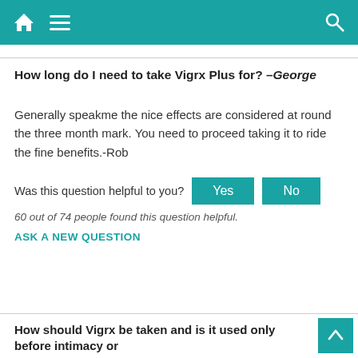Home | Menu | Search
How long do I need to take Vigrx Plus for? –George
Generally speakme the nice effects are considered at round the three month mark. You need to proceed taking it to ride the fine benefits.-Rob
Was this question helpful to you? Yes No
60 out of 74 people found this question helpful.
ASK A NEW QUESTION
How should Vigrx be taken and is it used only before intimacy or regular? Do you need to take a break? -Brian